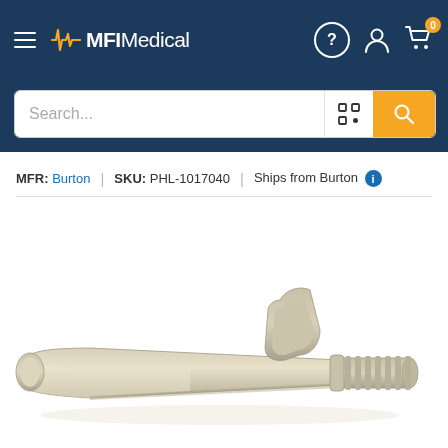MFI Medical
MFR: Burton | SKU: PHL-1017040 | Ships from Burton
[Figure (photo): Close-up photo of a beige/tan medical tracheostomy tube or similar cylindrical medical device component with a tapered cone shape, a flange/wing, and serrated connector end, photographed on a white background.]